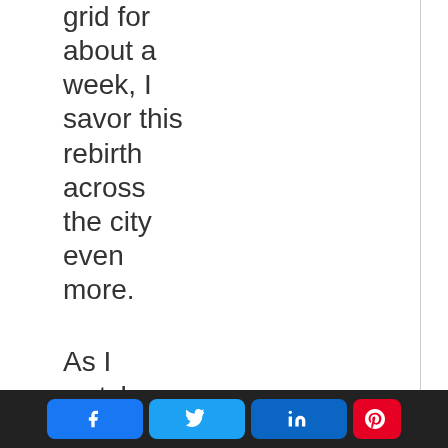grid for about a week, I savor this rebirth across the city even more.
As I watch television and see Ukraine, the home of my ancestors, get
Share buttons: Facebook, Twitter, LinkedIn, Pinterest